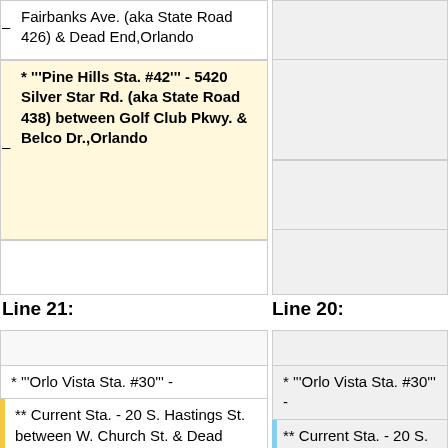– Fairbanks Ave. (aka State Road 426) & Dead End,Orlando
* '''Pine Hills Sta. #42''' - 5420 Silver Star Rd. (aka State Road 438) between Golf Club Pkwy. & Belco Dr.,Orlando
Line 21:
Line 20:
* '''Orlo Vista Sta. #30''' -
** Current Sta. - 20 S. Hastings St. between W. Church St. & Dead End,Orlando (Sta. sits at the
* '''Orlo Vista Sta. #30''' -
** Current Sta. - 20 S. Hastings St. between W. Church St. & Dead End,Orlando (The front of